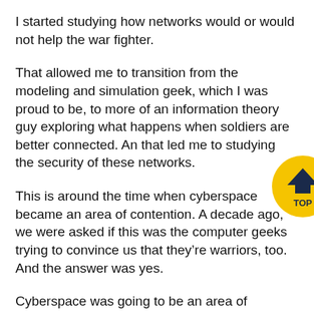I started studying how networks would or would not help the war fighter.
That allowed me to transition from the modeling and simulation geek, which I was proud to be, to more of an information theory guy exploring what happens when soldiers are better connected. And that led me to studying the security of these networks.
[Figure (other): Yellow circular button with dark navy chevron/arrow pointing up and text 'TOP' below it]
This is around the time when cyberspace became an area of contention. A decade ago, we were asked if this was the computer geeks trying to convince us that they're warriors, too. And the answer was yes.
Cyberspace was going to be an area of concern, both to protect yourself and your information, and